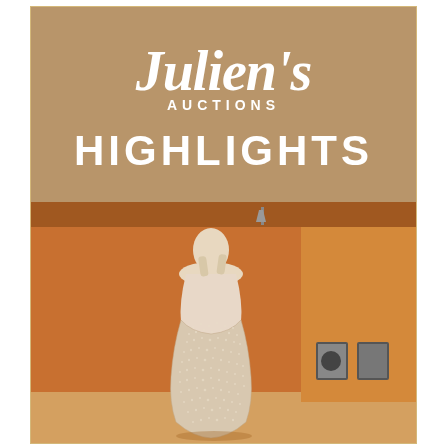Julien's AUCTIONS HIGHLIGHTS
[Figure (photo): A mannequin wearing a sheer, form-fitting, crystal-embellished gown (likely Marilyn Monroe's famous dress) displayed in an orange-walled gallery or auction house setting with framed black and white photographs visible in the background.]